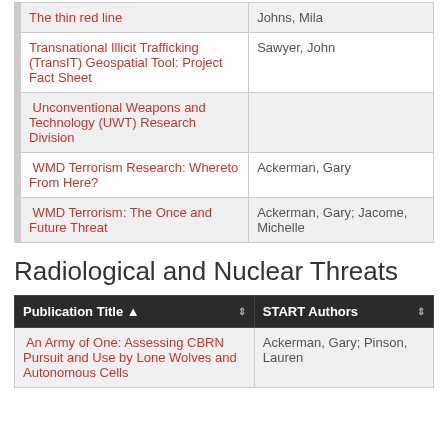| Publication Title | START Authors |
| --- | --- |
| The thin red line | Johns, Mila |
| Transnational Illicit Trafficking (TransIT) Geospatial Tool: Project Fact Sheet | Sawyer, John |
| Unconventional Weapons and Technology (UWT) Research Division |  |
| WMD Terrorism Research: Whereto From Here? | Ackerman, Gary |
| WMD Terrorism: The Once and Future Threat | Ackerman, Gary; Jacome, Michelle |
Radiological and Nuclear Threats
| Publication Title ▲ ⇕ | START Authors ⇕ |
| --- | --- |
| An Army of One: Assessing CBRN Pursuit and Use by Lone Wolves and Autonomous Cells | Ackerman, Gary; Pinson, Lauren |